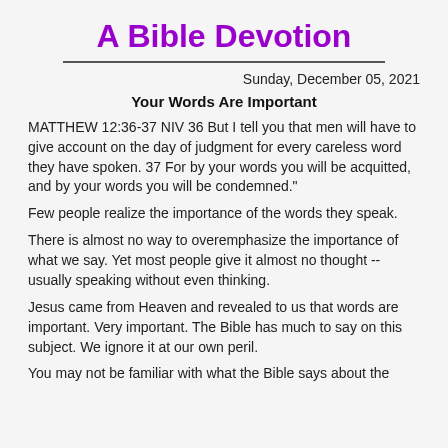A Bible Devotion
Sunday, December 05, 2021
Your Words Are Important
MATTHEW 12:36-37 NIV 36 But I tell you that men will have to give account on the day of judgment for every careless word they have spoken. 37 For by your words you will be acquitted, and by your words you will be condemned."
Few people realize the importance of the words they speak.
There is almost no way to overemphasize the importance of what we say. Yet most people give it almost no thought -- usually speaking without even thinking.
Jesus came from Heaven and revealed to us that words are important. Very important. The Bible has much to say on this subject. We ignore it at our own peril.
You may not be familiar with what the Bible says about the